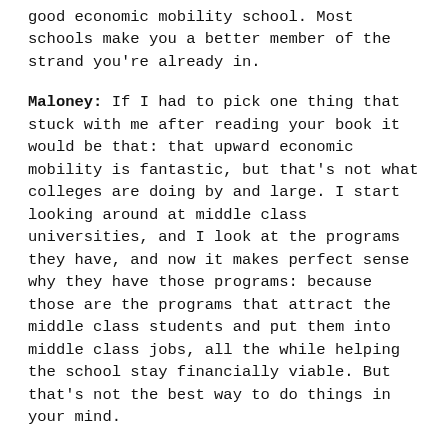good economic mobility school. Most schools make you a better member of the strand you're already in.
Maloney: If I had to pick one thing that stuck with me after reading your book it would be that: that upward economic mobility is fantastic, but that's not what colleges are doing by and large. I start looking around at middle class universities, and I look at the programs they have, and now it makes perfect sense why they have those programs: because those are the programs that attract the middle class students and put them into middle class jobs, all the while helping the school stay financially viable. But that's not the best way to do things in your mind.
Dr. Childress: That's a tough question. You think about the traditional model of economic change: it's a kind of multi-generational model. So let's use